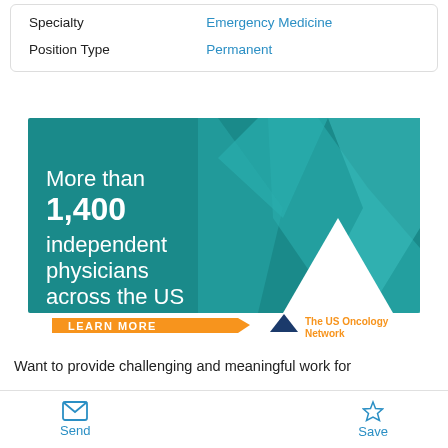| Specialty | Emergency Medicine |
| Position Type | Permanent |
[Figure (infographic): Advertisement banner for The US Oncology Network. Teal background with geometric arrow/chevron design. Text reads 'More than 1,400 independent physicians across the US'. Orange 'LEARN MORE' button. The US Oncology Network logo with blue triangle.]
Want to provide challenging and meaningful work for
Send  Save